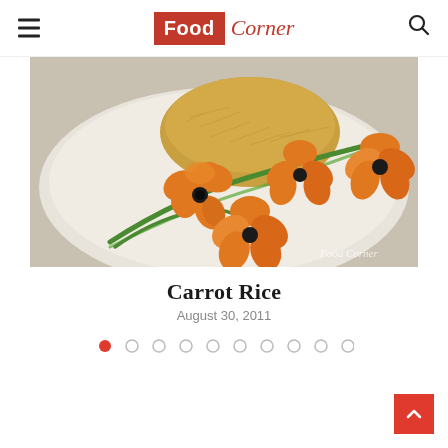Food Corner
[Figure (photo): A plate of carrot rice with decorative carrot flowers carved to look like tulips or poppies with black centers, arranged on green onion stems on a white plate. Yellow fried rice is visible in the background. Watermark 'Food Corner' in bottom right.]
Carrot Rice
August 30, 2011
[Figure (infographic): Carousel pagination dots: 10 dots total, first dot filled red, rest outlined grey]